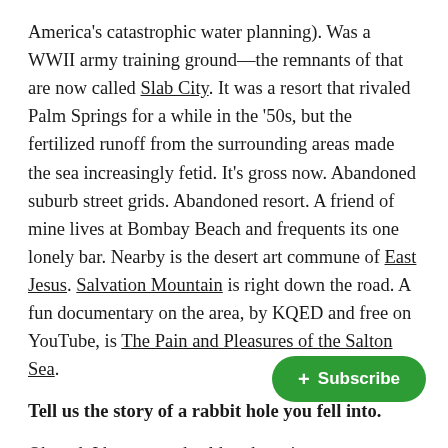America's catastrophic water planning). Was a WWII army training ground—the remnants of that are now called Slab City. It was a resort that rivaled Palm Springs for a while in the '50s, but the fertilized runoff from the surrounding areas made the sea increasingly fetid. It's gross now. Abandoned suburb street grids. Abandoned resort. A friend of mine lives at Bombay Beach and frequents its one lonely bar. Nearby is the desert art commune of East Jesus. Salvation Mountain is right down the road. A fun documentary on the area, by KQED and free on YouTube, is The Pain and Pleasures of the Salton Sea.
Tell us the story of a rabbit hole you fell into.
Oh god. I have an unhealthy obsessi... started when I read The Delta Factor, by...